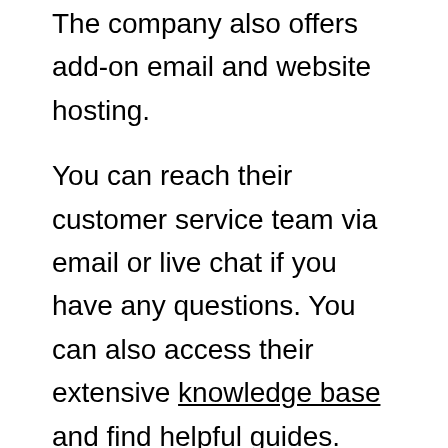The company also offers add-on email and website hosting.
You can reach their customer service team via email or live chat if you have any questions. You can also access their extensive knowledge base and find helpful guides.
Domain.com Pros
Supports free Let's Encrypt SSL certificates
It lets you forward email addresses under